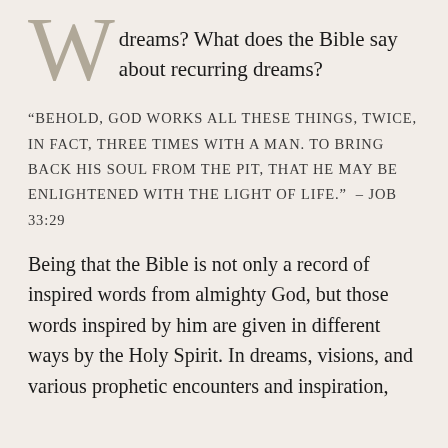dreams? What does the Bible say about recurring dreams?
“BEHOLD, GOD WORKS ALL THESE THINGS, TWICE, IN FACT, THREE TIMES WITH A MAN. TO BRING BACK HIS SOUL FROM THE PIT, THAT HE MAY BE ENLIGHTENED WITH THE LIGHT OF LIFE.” – JOB 33:29
Being that the Bible is not only a record of inspired words from almighty God, but those words inspired by him are given in different ways by the Holy Spirit. In dreams, visions, and various prophetic encounters and inspiration,